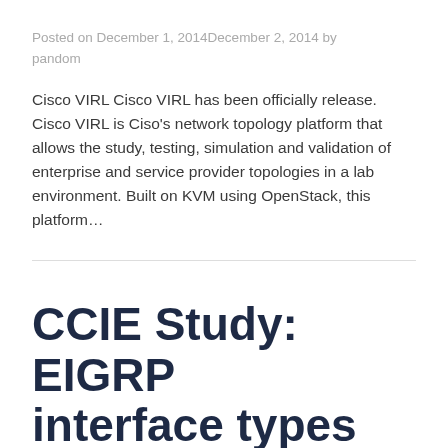Posted on December 1, 2014December 2, 2014 by pandom
Cisco VIRL Cisco VIRL has been officially release. Cisco VIRL is Ciso’s network topology platform that allows the study, testing, simulation and validation of enterprise and service provider topologies in a lab environment. Built on KVM using OpenStack, this platform…
CCIE Study: EIGRP interface types